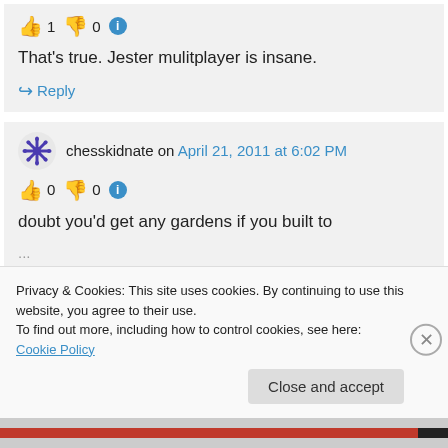👍 1 👎 0 ℹ
That's true. Jester mulitplayer is insane.
↪ Reply
chesskidnate on April 21, 2011 at 6:02 PM
👍 0 👎 0 ℹ
doubt you'd get any gardens if you built to
Privacy & Cookies: This site uses cookies. By continuing to use this website, you agree to their use.
To find out more, including how to control cookies, see here: Cookie Policy
Close and accept